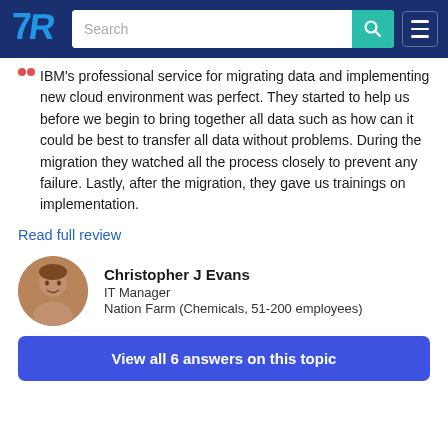TrustRadius — Search bar and navigation
IBM's professional service for migrating data and implementing new cloud environment was perfect. They started to help us before we begin to bring together all data such as how can it could be best to transfer all data without problems. During the migration they watched all the process closely to prevent any failure. Lastly, after the migration, they gave us trainings on implementation.
Read full review
Christopher J Evans
IT Manager
Nation Farm (Chemicals, 51-200 employees)
View all 6 answers on this topic